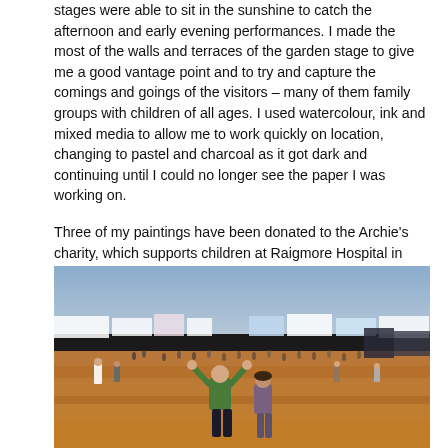stages were able to sit in the sunshine to catch the afternoon and early evening performances. I made the most of the walls and terraces of the garden stage to give me a good vantage point and to try and capture the comings and goings of the visitors – many of them family groups with children of all ages. I used watercolour, ink and mixed media to allow me to work quickly on location, changing to pastel and charcoal as it got dark and continuing until I could no longer see the paper I was working on.
Three of my paintings have been donated to the Archie's charity, which supports children at Raigmore Hospital in Inverness, and these will be auctioned at an event on 9th October.
[Figure (illustration): A watercolour/mixed media painting of a festival scene outdoors. People are scattered across an orange-brown field under a dramatic yellow-orange and blue sky. In the foreground, a person in a green jacket raises their arms, and another figure stands nearby. White tents and trailers are visible in the background along a dark tree line.]